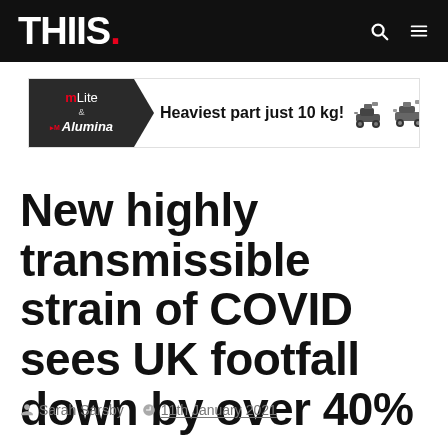THIIS.
[Figure (infographic): Advertisement banner for mLite & Alumina mobility scooter. Text reads: Heaviest part just 10 kg! IN STOCK]
New highly transmissible strain of COVID sees UK footfall down by over 40%
Sarah Sarsby   11th January 2021